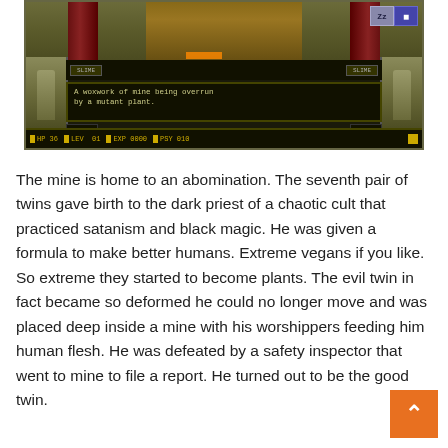[Figure (screenshot): Retro video game screenshot showing a character in a mine with text 'A woxwork of mine being overrun by a mutant plant.' and status bar showing HP 36, LEV 01, EXP 0000, PSY 010]
The mine is home to an abomination. The seventh pair of twins gave birth to the dark priest of a chaotic cult that practiced satanism and black magic. He was given a formula to make better humans. Extreme vegans if you like. So extreme they started to become plants. The evil twin in fact became so deformed he could no longer move and was placed deep inside a mine with his worshippers feeding him human flesh. He was defeated by a safety inspector that went to mine to file a report. He turned out to be the good twin.